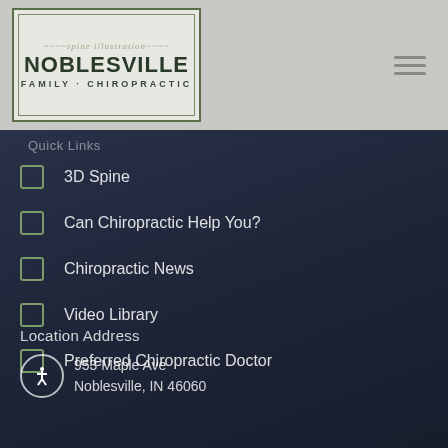[Figure (logo): Noblesville Family Chiropractic logo with spine illustration in a bordered box]
Quick Links
3D Spine
Can Chiropractic Help You?
Chiropractic News
Video Library
Preferred Chiropractic Doctor
Location Address
953 Maple Ave
Noblesville, IN 46060